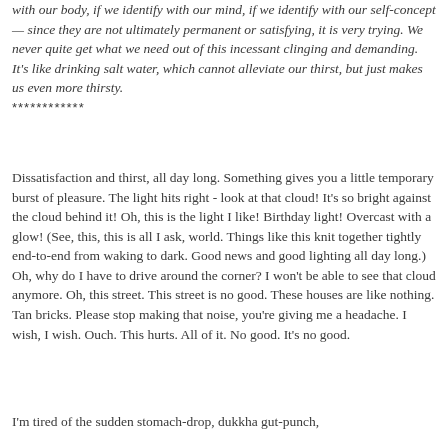with our body, if we identify with our mind, if we identify with our self-concept — since they are not ultimately permanent or satisfying, it is very trying. We never quite get what we need out of this incessant clinging and demanding. It's like drinking salt water, which cannot alleviate our thirst, but just makes us even more thirsty.
************
Dissatisfaction and thirst, all day long. Something gives you a little temporary burst of pleasure. The light hits right - look at that cloud! It's so bright against the cloud behind it! Oh, this is the light I like! Birthday light! Overcast with a glow! (See, this, this is all I ask, world. Things like this knit together tightly end-to-end from waking to dark. Good news and good lighting all day long.) Oh, why do I have to drive around the corner? I won't be able to see that cloud anymore. Oh, this street. This street is no good. These houses are like nothing. Tan bricks. Please stop making that noise, you're giving me a headache. I wish, I wish. Ouch. This hurts. All of it. No good. It's no good.
I'm tired of the sudden stomach-drop, dukkha gut-punch,